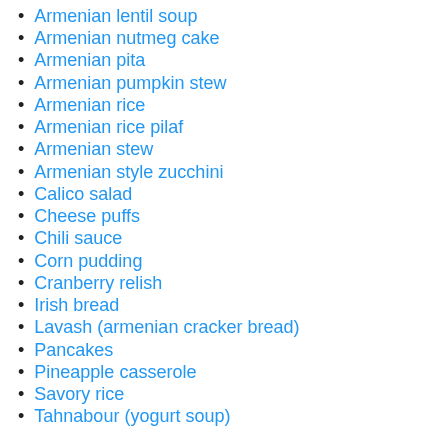Armenian lentil soup
Armenian nutmeg cake
Armenian pita
Armenian pumpkin stew
Armenian rice
Armenian rice pilaf
Armenian stew
Armenian style zucchini
Calico salad
Cheese puffs
Chili sauce
Corn pudding
Cranberry relish
Irish bread
Lavash (armenian cracker bread)
Pancakes
Pineapple casserole
Savory rice
Tahnabour (yogurt soup)